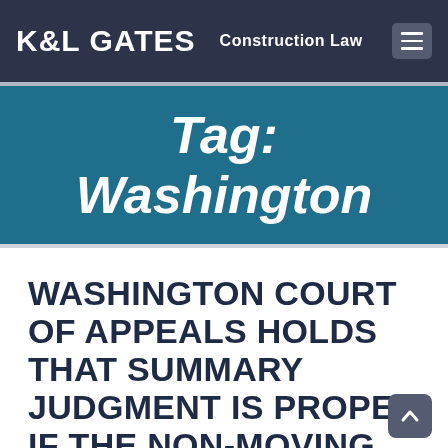K&L GATES  Construction Law
Tag: Washington
WASHINGTON COURT OF APPEALS HOLDS THAT SUMMARY JUDGMENT IS PROPER IF THE NON-MOVING PARTY'S